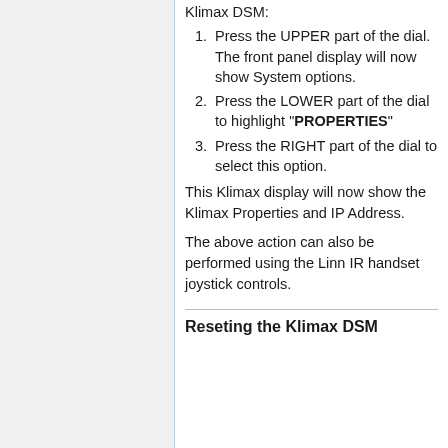Klimax DSM:
Press the UPPER part of the dial. The front panel display will now show System options.
Press the LOWER part of the dial to highlight "PROPERTIES"
Press the RIGHT part of the dial to select this option.
This Klimax display will now show the Klimax Properties and IP Address.
The above action can also be performed using the Linn IR handset joystick controls.
Reseting the Klimax DSM